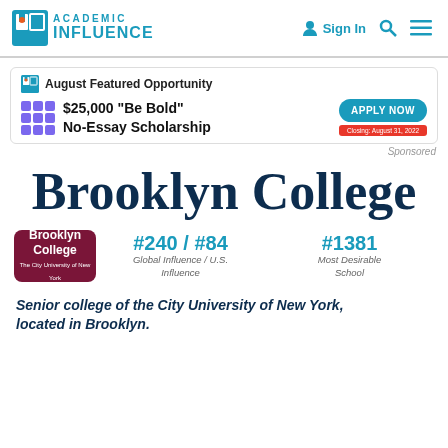Academic Influence | Sign In
[Figure (screenshot): August Featured Opportunity ad banner for $25,000 'Be Bold' No-Essay Scholarship with Apply Now button]
Sponsored
Brooklyn College
[Figure (logo): Brooklyn College maroon logo badge]
#240 / #84 Global Influence / U.S. Influence
#1381 Most Desirable School
Senior college of the City University of New York, located in Brooklyn.